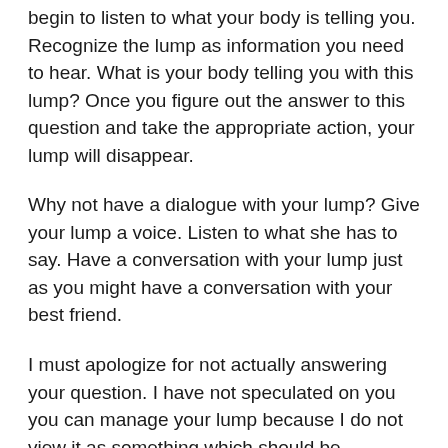Of course, there are many possibilities. I suggest that you begin to listen to what your body is telling you. Recognize the lump as information you need to hear. What is your body telling you with this lump? Once you figure out the answer to this question and take the appropriate action, your lump will disappear.
Why not have a dialogue with your lump? Give your lump a voice. Listen to what she has to say. Have a conversation with your lump just as you might have a conversation with your best friend.
I must apologize for not actually answering your question. I have not speculated on you you can manage your lump because I do not view it as something which should be managed. Instead of being a symptom to be managed, I believe a lump in the throat is something to be heard with the mindful intention of healing.
Robert Rodman, Ph.D.